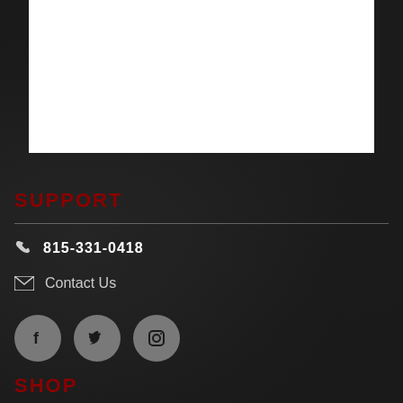[Figure (other): White rectangular box at top of dark background page]
SUPPORT
815-331-0418
Contact Us
[Figure (other): Social media icons: Facebook, Twitter, Instagram — gray circles]
SHOP